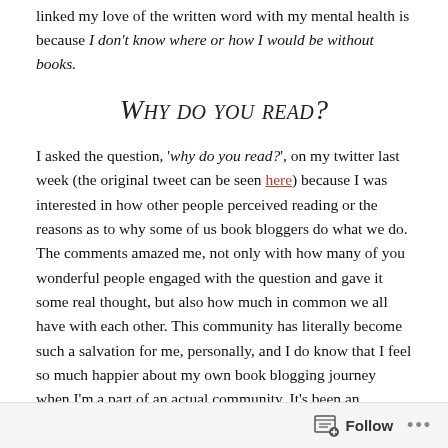linked my love of the written word with my mental health is because I don't know where or how I would be without books.
Why do you read?
I asked the question, 'why do you read?', on my twitter last week (the original tweet can be seen here) because I was interested in how other people perceived reading or the reasons as to why some of us book bloggers do what we do. The comments amazed me, not only with how many of you wonderful people engaged with the question and gave it some real thought, but also how much in common we all have with each other. This community has literally become such a salvation for me, personally, and I do know that I feel so much happier about my own book blogging journey when I'm a part of an actual community. It's been an incredible experience, I must admit. I even created a pie chart in order to collate the overarching themes of the Twitter comments to my
Follow